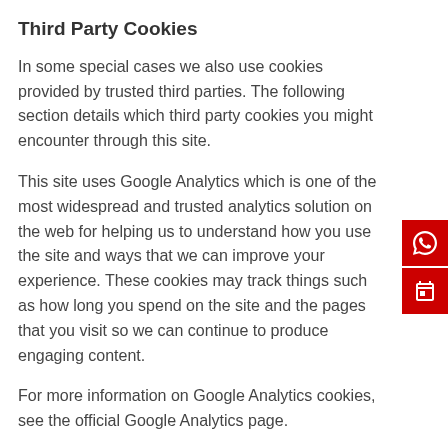Third Party Cookies
In some special cases we also use cookies provided by trusted third parties. The following section details which third party cookies you might encounter through this site.
This site uses Google Analytics which is one of the most widespread and trusted analytics solution on the web for helping us to understand how you use the site and ways that we can improve your experience. These cookies may track things such as how long you spend on the site and the pages that you visit so we can continue to produce engaging content.
For more information on Google Analytics cookies, see the official Google Analytics page.
From time to time we test new features and make subtle changes to the way that the site is delivered. When we are still testing new features these cookies may be used to ensure that